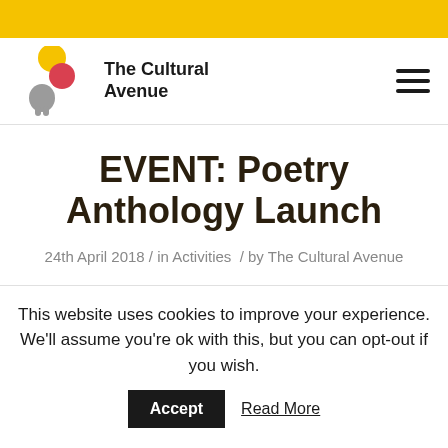[Figure (logo): The Cultural Avenue logo with abstract human figures in yellow, red, and grey, and text 'The Cultural Avenue']
EVENT: Poetry Anthology Launch
24th April 2018 / in Activities / by The Cultural Avenue
This website uses cookies to improve your experience. We'll assume you're ok with this, but you can opt-out if you wish.
Accept
Read More